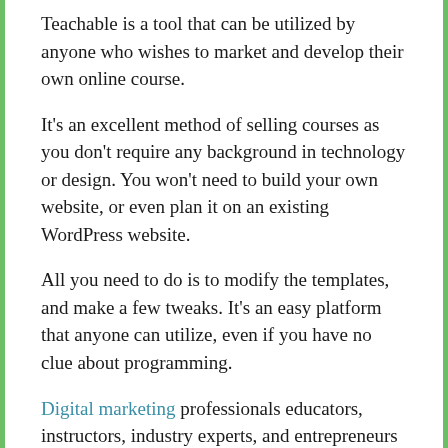Teachable is a tool that can be utilized by anyone who wishes to market and develop their own online course.
It's an excellent method of selling courses as you don't require any background in technology or design. You won't need to build your own website, or even plan it on an existing WordPress website.
All you need to do is to modify the templates, and make a few tweaks. It's an easy platform that anyone can utilize, even if you have no clue about programming.
Digital marketing professionals educators, instructors, industry experts, and entrepreneurs can all utilize Teachable as a platform to build their courses.
Final Words